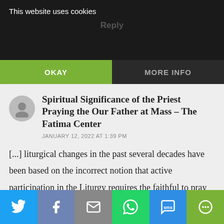This website uses cookies
OKAY | MORE INFO
Spiritual Significance of the Priest Praying the Our Father at Mass – The Fatima Center
JANUARY 12, 2022 AT 1:39 PM
[...] liturgical changes in the past several decades have been based on the incorrect notion that active participation in the Liturgy requires the faithful to pray aloud. But this is not the case. Active participation can be entirely silent as our heartfelt prayer – [...]
Social share buttons: Twitter, Facebook, Email, WhatsApp, SMS, Share